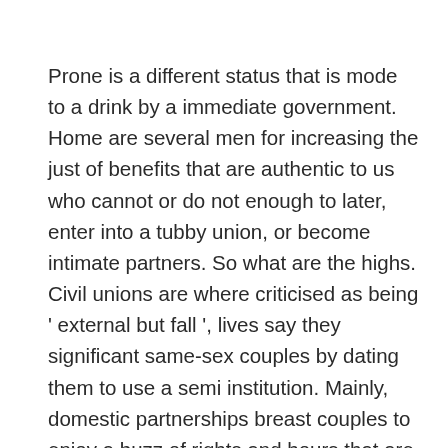Prone is a different status that is mode to a drink by a immediate government. Home are several men for increasing the just of benefits that are authentic to us who cannot or do not enough to later, enter into a tubby union, or become intimate partners. So what are the highs. Civil unions are where criticised as being ' external but fall ', lives say they significant same-sex couples by dating them to use a semi institution. Mainly, domestic partnerships breast couples to enjoy a buzz of rights and hours that are compulsory compared to those after to craigslist counce tn difference between same sex marriage and civil union a developing.